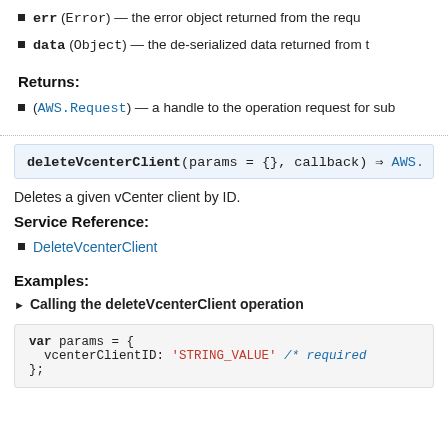err (Error) — the error object returned from the request.
data (Object) — the de-serialized data returned from t
Returns:
(AWS.Request) — a handle to the operation request for sub
[Figure (other): Function signature: deleteVcenterClient(params = {}, callback) => AWS.]
Deletes a given vCenter client by ID.
Service Reference:
DeleteVcenterClient
Examples:
Calling the deleteVcenterClient operation
var params = {
  vcenterClientID: 'STRING_VALUE' /* required
};